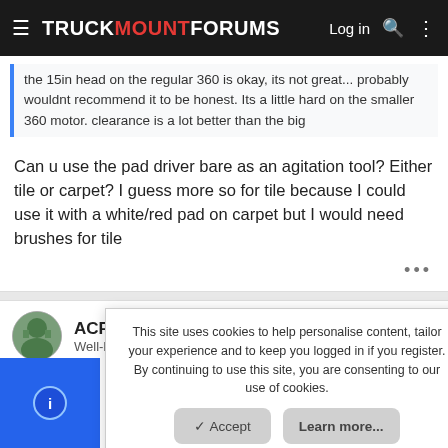TRUCKMOUNTFORUMS  Log in
the 15in head on the regular 360 is okay, its not great... probably wouldnt recommend it to be honest. Its a little hard on the smaller 360 motor. clearance is a lot better than the big
Can u use the pad driver bare as an agitation tool? Either tile or carpet? I guess more so for tile because I could use it with a white/red pad on carpet but I would need brushes for tile
ACP
Well-Known Member
#12
Jun 15, 2019
This site uses cookies to help personalise content, tailor your experience and to keep you logged in if you register.
By continuing to use this site, you are consenting to our use of cookies.